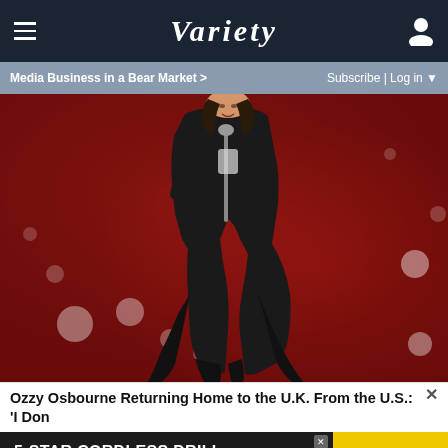VARIETY
Media Business in a Bear Market > Subscribe | Log in
[Figure (photo): Ozzy Osbourne performing on stage in black coat, holding microphone stand, against a red bokeh background with scattered white bokeh lights]
Ozzy Osbourne Returning Home to the U.K. From the U.S.: 'I Don't Want to Die in America'
5-STAR CORDLESS DRILL ON SALE AT AMAZON /SPY